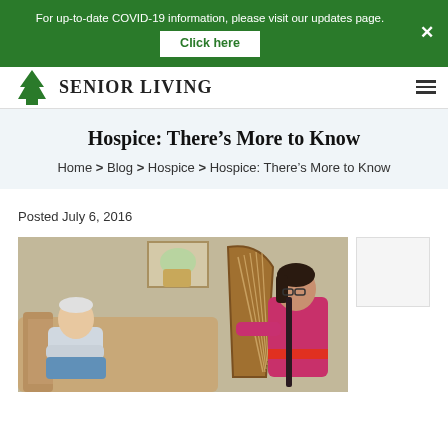For up-to-date COVID-19 information, please visit our updates page. Click here
[Figure (logo): Senior Living logo with green tree icon and text SENIOR LIVING]
Hospice: There’s More to Know
Home > Blog > Hospice > Hospice: There’s More to Know
Posted July 6, 2016
[Figure (photo): An elderly man reclines on a sofa while a woman in a pink/magenta top plays a harp beside him in a living room setting]